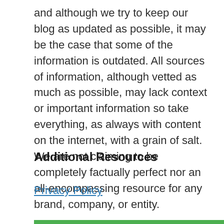and although we try to keep our blog as updated as possible, it may be the case that some of the information is outdated. All sources of information, although vetted as much as possible, may lack context or important information so take everything, as always with content on the internet, with a grain of salt. We are not claiming to be completely factually perfect nor an all-encompassing resource for any brand, company, or entity.
Additional Resources
Privacy Policy